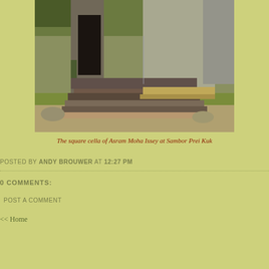[Figure (photo): Stone temple structure showing the square cella of Asram Moha Issey at Sambor Prei Kuk, with layered stone base, dark doorway, and green grass surroundings]
The square cella of Asram Moha Issey at Sambor Prei Kuk
POSTED BY ANDY BROUWER AT 12:27 PM
0 COMMENTS:
POST A COMMENT
<< Home